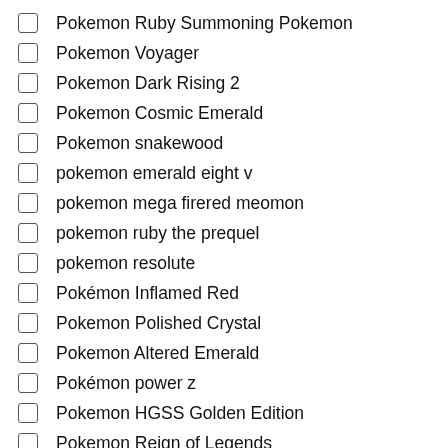Pokemon Ruby Summoning Pokemon
Pokemon Voyager
Pokemon Dark Rising 2
Pokemon Cosmic Emerald
Pokemon snakewood
pokemon emerald eight v
pokemon mega firered meomon
pokemon ruby the prequel
pokemon resolute
Pokémon Inflamed Red
Pokemon Polished Crystal
Pokemon Altered Emerald
Pokémon power z
Pokemon HGSS Golden Edition
Pokemon Reign of Legends
Pokemon Mega Black 2